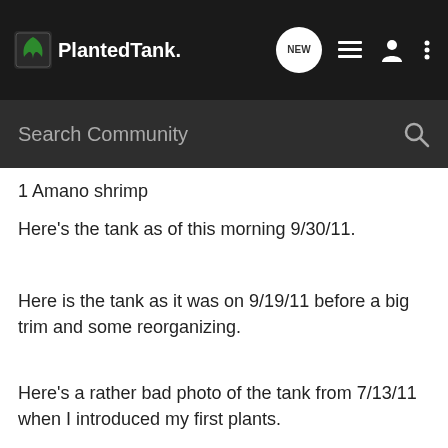Planted Tank
1 Amano shrimp
Here's the tank as of this morning 9/30/11.
Here is the tank as it was on 9/19/11 before a big trim and some reorganizing.
Here's a rather bad photo of the tank from 7/13/11 when I introduced my first plants.
It's almost due for another trim, at least the Rotala. I would like